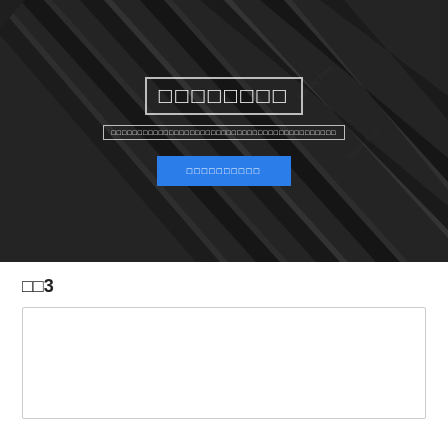[Figure (photo): Hero banner with dark background showing black pencils diagonally arranged, with overlaid title text in white with border, subtitle text, and a blue call-to-action button]
□□3
[Figure (other): White card/box with light border, appears empty or loading]